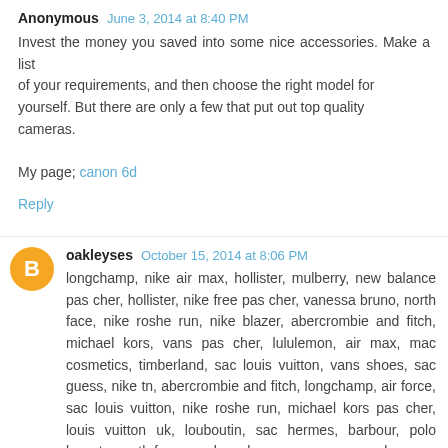Anonymous  June 3, 2014 at 8:40 PM
Invest the money you saved into some nice accessories. Make a list of your requirements, and then choose the right model for yourself. But there are only a few that put out top quality cameras.

My page; canon 6d
Reply
oakleyses  October 15, 2014 at 8:06 PM
longchamp, nike air max, hollister, mulberry, new balance pas cher, hollister, nike free pas cher, vanessa bruno, north face, nike roshe run, nike blazer, abercrombie and fitch, michael kors, vans pas cher, lululemon, air max, mac cosmetics, timberland, sac louis vuitton, vans shoes, sac guess, nike tn, abercrombie and fitch, longchamp, air force, sac louis vuitton, nike roshe run, michael kors pas cher, louis vuitton uk, louboutin, sac hermes, barbour, polo lacoste, north face, sac longchamp, converse pas cher, sac